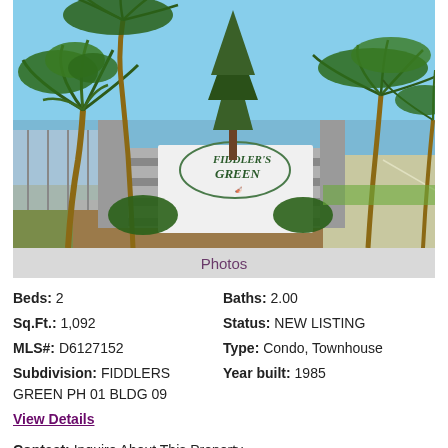[Figure (photo): Exterior photo of Fiddler's Green community entrance sign surrounded by palm trees and landscaping in Florida]
Photos
Beds: 2
Sq.Ft.: 1,092
MLS#: D6127152
Subdivision: FIDDLERS GREEN PH 01 BLDG 09
Baths: 2.00
Status: NEW LISTING
Type: Condo, Townhouse
Year built: 1985
View Details
Contact: Inquire About This Property, vickimarsh@bhhsfloridarealty.net, 941-320-